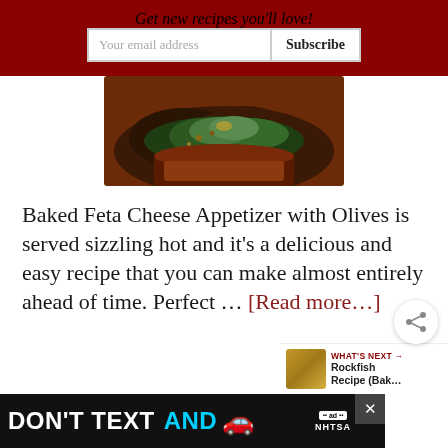Get new recipes you'll love!
[Figure (photo): Photo of baked feta cheese appetizer with olives in a clay/terracotta dish, served with greens on top, dark background.]
Baked Feta Cheese Appetizer with Olives is served sizzling hot and it's a delicious and easy recipe that you can make almost entirely ahead of time. Perfect … [Read more...]
[Figure (other): WHAT'S NEXT arrow label with thumbnail of Rockfish Recipe (Bak...) and Whisk app logo]
[Figure (other): Advertisement banner: DON'T TEXT AND [car emoji] with NHTSA branding and ad close button]